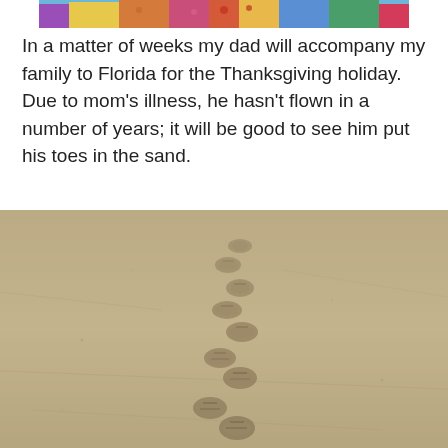[Figure (photo): Top portion of a photo showing people in colorful clothing, cropped at the bottom edge of the frame]
In a matter of weeks my dad will accompany my family to Florida for the Thanksgiving holiday. Due to mom’s illness, he hasn’t flown in a number of years; it will be good to see him put his toes in the sand.
[Figure (photo): Photo of footprints (appearing to be flip-flop sandal prints) in wet sand on a beach, trail of prints leading diagonally from bottom to top of frame]